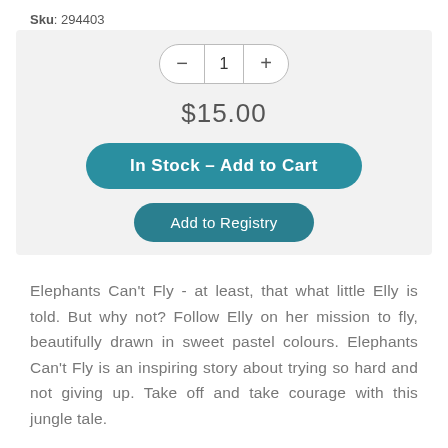Sku: 294403
[Figure (screenshot): E-commerce product purchase widget showing quantity selector (minus, 1, plus), price $15.00, 'In Stock - Add to Cart' teal button, and 'Add to Registry' teal button, on a light grey background.]
Elephants Can't Fly - at least, that what little Elly is told. But why not? Follow Elly on her mission to fly, beautifully drawn in sweet pastel colours. Elephants Can't Fly is an inspiring story about trying so hard and not giving up. Take off and take courage with this jungle tale.